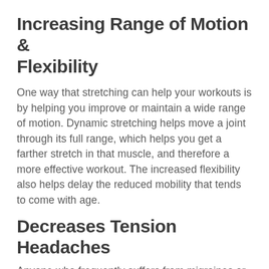Increasing Range of Motion & Flexibility
One way that stretching can help your workouts is by helping you improve or maintain a wide range of motion. Dynamic stretching helps move a joint through its full range, which helps you get a farther stretch in that muscle, and therefore a more effective workout. The increased flexibility also helps delay the reduced mobility that tends to come with age.
Decreases Tension Headaches
Anyone who frequently suffers from migraines or tension headaches knows how much it can get in the way of a workout, or pretty much any other plans you had for the day. Stretching can